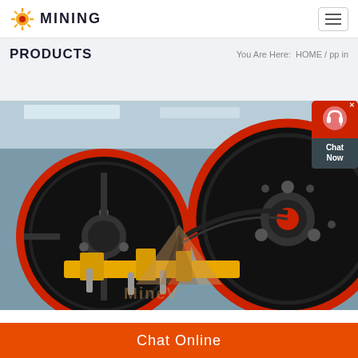MINING
PRODUCTS
You Are Here:  HOME / pp in
[Figure (photo): Close-up photo of large black industrial mining machinery flywheels with red trim rings and yellow mechanical frame in a factory/warehouse setting. A translucent watermark logo (mountain/pyramid shape with 'MineV' text) is overlaid.]
Chat Now
Chat Online